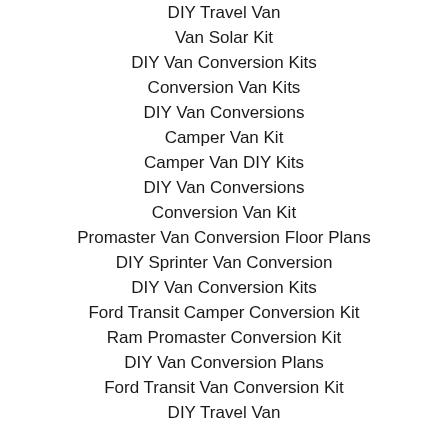DIY Travel Van
Van Solar Kit
DIY Van Conversion Kits
Conversion Van Kits
DIY Van Conversions
Camper Van Kit
Camper Van DIY Kits
DIY Van Conversions
Conversion Van Kit
Promaster Van Conversion Floor Plans
DIY Sprinter Van Conversion
DIY Van Conversion Kits
Ford Transit Camper Conversion Kit
Ram Promaster Conversion Kit
DIY Van Conversion Plans
Ford Transit Van Conversion Kit
DIY Travel Van